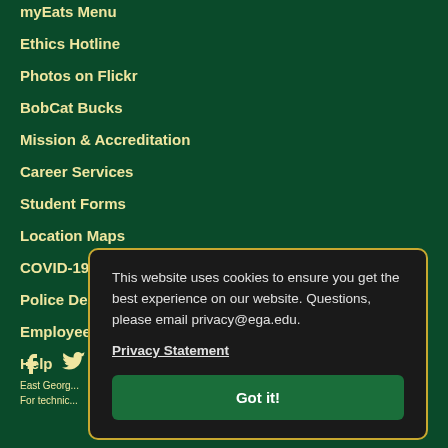myEats Menu
Ethics Hotline
Photos on Flickr
BobCat Bucks
Mission & Accreditation
Career Services
Student Forms
Location Maps
COVID-19 Information
Police Department
Employee Directory
Help
East Georg...
For technic...
This website uses cookies to ensure you get the best experience on our website. Questions, please email privacy@ega.edu.
Privacy Statement
Got it!